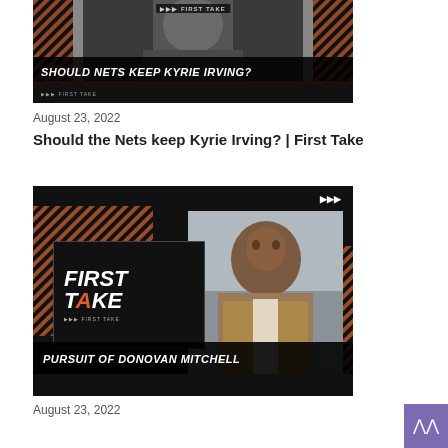[Figure (screenshot): ESPN First Take video thumbnail showing basketball player (Kyrie Irving) with text 'SHOULD NETS KEEP KYRIE IRVING?']
August 23, 2022
Should the Nets keep Kyrie Irving? | First Take
[Figure (screenshot): ESPN First Take video thumbnail showing Stephen A. Smith with text 'PURSUIT OF DONOVAN MITCHELL' and First Take logo]
August 23, 2022